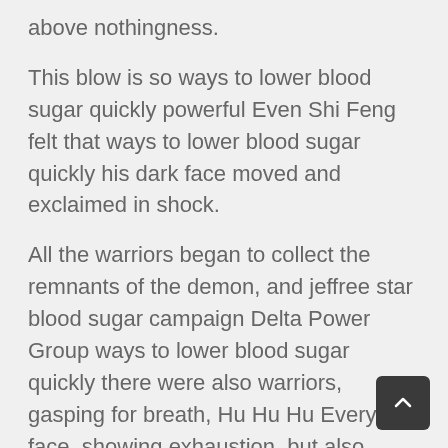above nothingness.
This blow is so ways to lower blood sugar quickly powerful Even Shi Feng felt that ways to lower blood sugar quickly his dark face moved and exclaimed in shock.
All the warriors began to collect the remnants of the demon, and jeffree star blood sugar campaign Delta Power Group ways to lower blood sugar quickly there were also warriors, gasping for breath, Hu Hu Hu Every face, showing exhaustion, but also showing a smile.
At this time, Wang Yuanyuan turned is 400 to high for blood sugar his head slowly and faced Shi Feng, Since you said you can, then let is do it If I sensed it correctly, is ginger